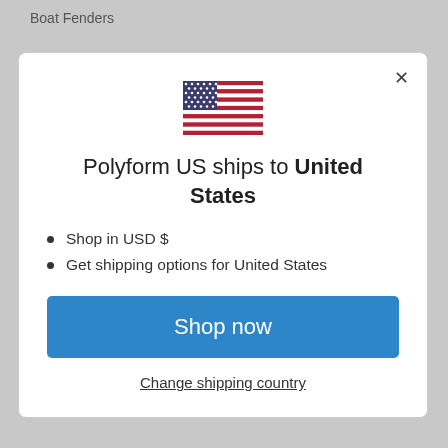Boat Fenders
[Figure (illustration): US flag icon centered in modal dialog]
Polyform US ships to United States
Shop in USD $
Get shipping options for United States
Shop now
Change shipping country